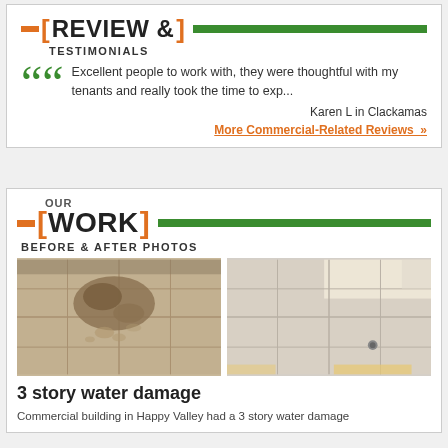REVIEW & TESTIMONIALS
Excellent people to work with, they were thoughtful with my tenants and really took the time to exp...
Karen L in Clackamas
More Commercial-Related Reviews »
OUR WORK
BEFORE & AFTER PHOTOS
[Figure (photo): Before photo: water-damaged ceiling tiles with staining and peeling]
[Figure (photo): After photo: clean, restored ceiling tiles in commercial building]
3 story water damage
Commercial building in Happy Valley had a 3 story water damage